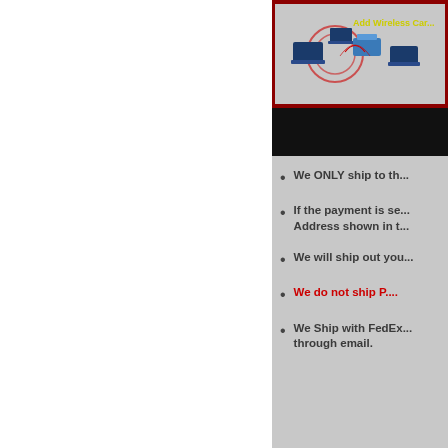[Figure (illustration): Banner showing laptops with wireless networking and text 'Add Wireless Car...' in yellow-green on red background]
We ONLY ship to th...
If the payment is se... Address shown in t...
We will ship out you...
We do not ship P....
We Ship with FedEx... through email.